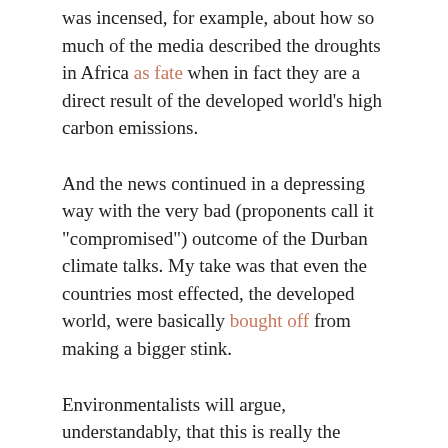was incensed, for example, about how so much of the media described the droughts in Africa as fate when in fact they are a direct result of the developed world's high carbon emissions.
And the news continued in a depressing way with the very bad (proponents call it "compromised") outcome of the Durban climate talks. My take was that even the countries most effected, the developed world, were basically bought off from making a bigger stink.
Environmentalists will argue, understandably, that this is really the biggest story and will remain so until we all fry. The problem is that our lives are measured in the nano seconds of video games, and until we can